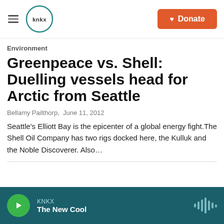KNKX | Donate
Environment
Greenpeace vs. Shell: Duelling vessels head for Arctic from Seattle
Bellamy Pailthorp,  June 11, 2012
Seattle's Elliott Bay is the epicenter of a global energy fight.The Shell Oil Company has two rigs docked here, the Kulluk and the Noble Discoverer. Also…
KNKX | The New Cool